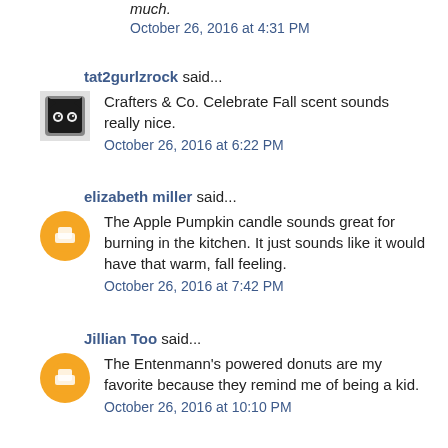much.
October 26, 2016 at 4:31 PM
tat2gurlzrock said...
Crafters & Co. Celebrate Fall scent sounds really nice.
October 26, 2016 at 6:22 PM
elizabeth miller said...
The Apple Pumpkin candle sounds great for burning in the kitchen. It just sounds like it would have that warm, fall feeling.
October 26, 2016 at 7:42 PM
Jillian Too said...
The Entenmann's powered donuts are my favorite because they remind me of being a kid.
October 26, 2016 at 10:10 PM